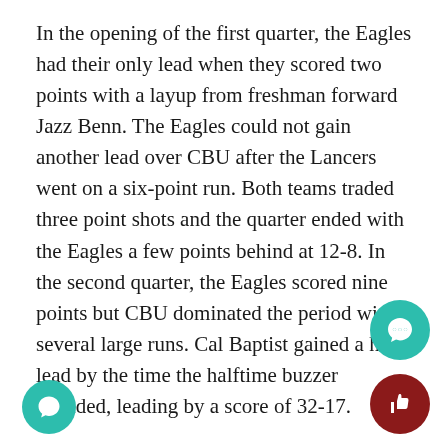In the opening of the first quarter, the Eagles had their only lead when they scored two points with a layup from freshman forward Jazz Benn. The Eagles could not gain another lead over CBU after the Lancers went on a six-point run. Both teams traded three point shots and the quarter ended with the Eagles a few points behind at 12-8. In the second quarter, the Eagles scored nine points but CBU dominated the period with several large runs. Cal Baptist gained a huge lead by the time the halftime buzzer sounded, leading by a score of 32-17.
CAL BAPTIST ADDS TO ROUT
In the third quarter, the Eagles scored 12 points but fell further behind as Cal Baptist continued to rain down baskets. CBU scored a total of 25 points in the quarter alone continued to push the Eagles further behind as the period ended with a score of 57-29. In the final quarter, th